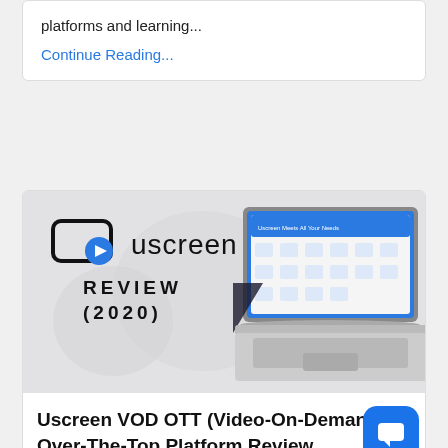platforms and learning...
Continue Reading...
[Figure (screenshot): Uscreen Review (2020) promotional image showing Uscreen logo with play button icon on left and a laptop displaying Uscreen interface on right, gray background]
Uscreen VOD OTT (Video-On-Demand Over-The-Top Platform Review